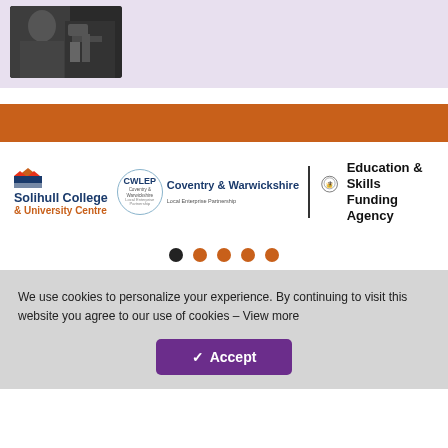[Figure (photo): Photo of a person working with machinery, shown in the top left within a lavender/purple background section]
[Figure (illustration): Orange/burnt-sienna horizontal bar spanning full width]
[Figure (logo): Logos section: Solihull College & University Centre logo, CWLEP (Coventry & Warwickshire Local Enterprise Partnership) circular logo, and Education & Skills Funding Agency logo with royal crest]
[Figure (infographic): Carousel navigation dots: one black dot followed by four orange dots]
We use cookies to personalize your experience. By continuing to visit this website you agree to our use of cookies – View more
Accept